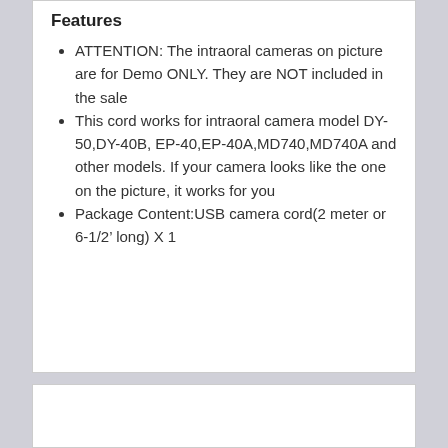Features
ATTENTION: The intraoral cameras on picture are for Demo ONLY. They are NOT included in the sale
This cord works for intraoral camera model DY-50,DY-40B, EP-40,EP-40A,MD740,MD740A and other models. If your camera looks like the one on the picture, it works for you
Package Content:USB camera cord(2 meter or 6-1/2’ long) X 1